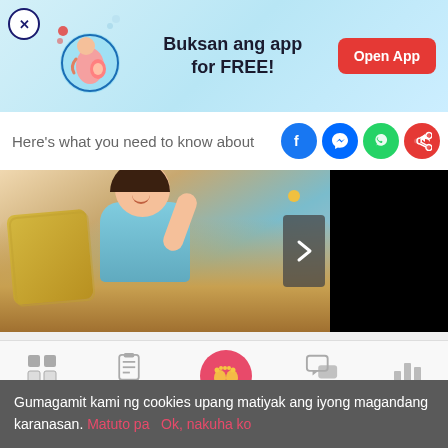[Figure (screenshot): App advertisement banner with pregnancy illustration, text 'Buksan ang app for FREE!' and red 'Open App' button]
Here's what you need to know about
[Figure (photo): Pregnant woman smiling, sitting on couch with yellow pillow, wearing light blue top]
[Figure (screenshot): Black panel/video area on right side of content]
[Figure (screenshot): Mobile app navigation bar with Tools, Articles, center baby footprint button, Feed, and Poll icons]
Gumagamit kami ng cookies upang matiyak ang iyong magandang karanasan. Matuto pa   Ok, nakuha ko